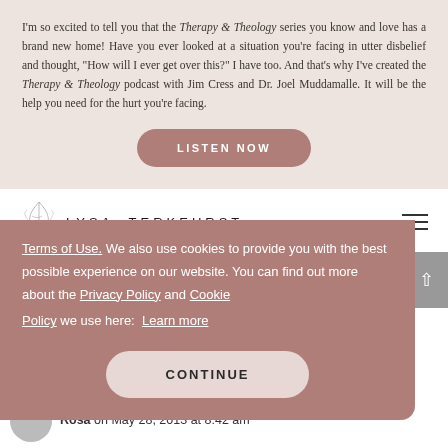I'm so excited to tell you that the Therapy & Theology series you know and love has a brand new home! Have you ever looked at a situation you're facing in utter disbelief and thought, "How will I ever get over this?" I have too. And that's why I've created the Therapy & Theology podcast with Jim Cress and Dr. Joel Muddamalle. It will be the help you need for the hurt you're facing.
LISTEN NOW
[Figure (logo): Lysa TerKeurst logo with leaf/branch botanical illustration]
Terms of Use. We also use cookies to provide you with the best possible experience on our website. You can find out more about the Privacy Policy and Cookie Policy we use here: Learn more
CONTINUE
Rosa on May 28, 2013 at 8:42 am